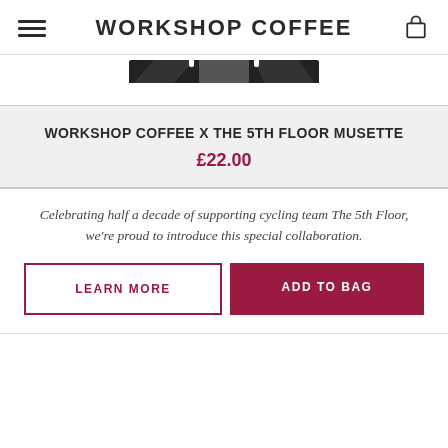WORKSHOP COFFEE
[Figure (photo): Partial product image visible at top of page, dark background with fabric/bag visible]
WORKSHOP COFFEE X THE 5TH FLOOR MUSETTE
£22.00
Celebrating half a decade of supporting cycling team The 5th Floor, we're proud to introduce this special collaboration.
LEARN MORE
ADD TO BAG